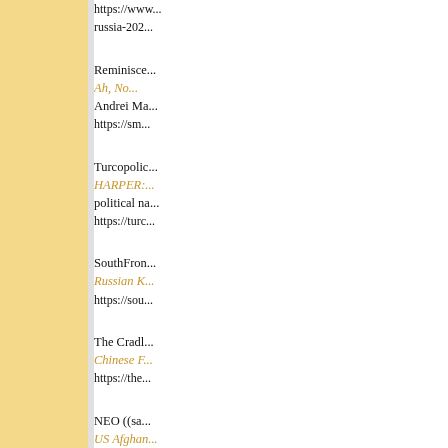https://www... russia-202...
Reminisce... Ah, No... Andrei Ma... https://sm...
Turcopolic... HARPER:... political na... https://turc...
SouthFron... Russian K... https://sou...
The Cradl... Chinese F... https://the...
NEO ((sa... US Afghan... Vladimir P...